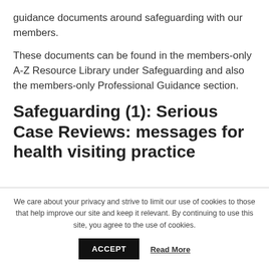guidance documents around safeguarding with our members.
These documents can be found in the members-only A-Z Resource Library under Safeguarding and also the members-only Professional Guidance section.
Safeguarding (1): Serious Case Reviews: messages for health visiting practice
We care about your privacy and strive to limit our use of cookies to those that help improve our site and keep it relevant. By continuing to use this site, you agree to the use of cookies.
ACCEPT   Read More